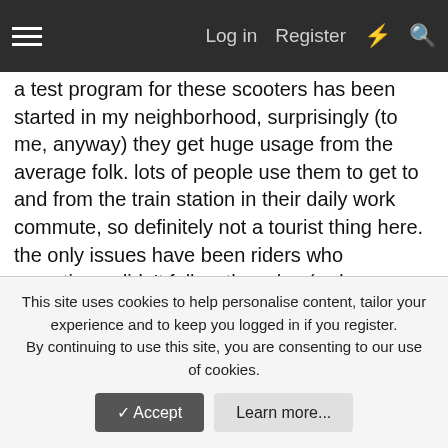Log in  Register
a test program for these scooters has been started in my neighborhood, surprisingly (to me, anyway) they get huge usage from the average folk. lots of people use them to get to and from the train station in their daily work commute, so definitely not a tourist thing here. the only issues have been riders who sometimes didn't follow the rules (rode on sidewalks, went through red lights, or underage riders [need to be 18+]) but those have been largely cleared up with local enforcement.
haven't tried them myself, and I'm sure accidents will happen but none so far. seems nuts to ride them without a helmet but most riders don't.
the only people who complain about the scooters tend to be older folks who are never going to use them anyway. kind of like
This site uses cookies to help personalise content, tailor your experience and to keep you logged in if you register.
By continuing to use this site, you are consenting to our use of cookies.